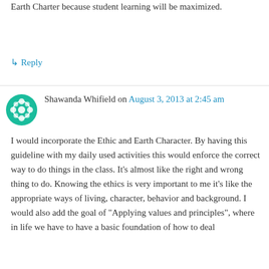Earth Charter because student learning will be maximized.
↳ Reply
Shawanda Whifield on August 3, 2013 at 2:45 am
I would incorporate the Ethic and Earth Character. By having this guideline with my daily used activities this would enforce the correct way to do things in the class. It’s almost like the right and wrong thing to do. Knowing the ethics is very important to me it’s like the appropriate ways of living, character, behavior and background. I would also add the goal of “Applying values and principles”, where in life we have to have a basic foundation of how to deal